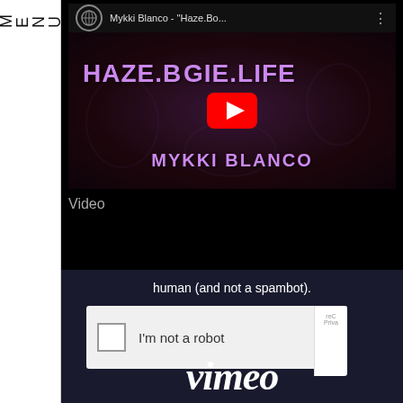MENU
[Figure (screenshot): YouTube video embed showing Mykki Blanco - Haze.Bo... with play button overlay. Video thumbnail shows purple text 'HAZE.BOOGIE.LIFE' and 'MYKKI BLANCO' on a dark patterned background.]
Video
[Figure (screenshot): Vimeo page with CAPTCHA verification showing text 'human (and not a spambot).' and a reCAPTCHA checkbox labeled 'I'm not a robot', with Vimeo logo at bottom in white italic text on dark navy background.]